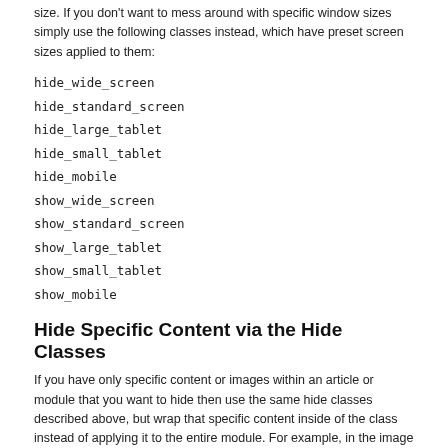size. If you don't want to mess around with specific window sizes simply use the following classes instead, which have preset screen sizes applied to them:
hide_wide_screen
hide_standard_screen
hide_large_tablet
hide_small_tablet
hide_mobile
show_wide_screen
show_standard_screen
show_large_tablet
show_small_tablet
show_mobile
Hide Specific Content via the Hide Classes
If you have only specific content or images within an article or module that you want to hide then use the same hide classes described above, but wrap that specific content inside of the class instead of applying it to the entire module. For example, in the image below, the third paragraph will hide at 900px and then show again at 700px.
[Figure (screenshot): Screenshot of Article Text section showing Lorem ipsum code with red-underlined text and a span tag with hide_900 show_700 class]